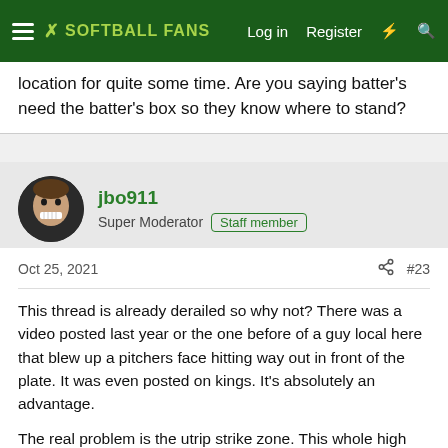SOFTBALL FANS — Log in  Register
location for quite some time. Are you saying batter's need the batter's box so they know where to stand?
jbo911
Super Moderator  Staff member
Oct 25, 2021  #23
This thread is already derailed so why not? There was a video posted last year or the one before of a guy local here that blew up a pitchers face hitting way out in front of the plate. It was even posted on kings. It's absolutely an advantage.

The real problem is the utrip strike zone. This whole high shoulder crap makes it to where you can't move the hitter back at all. Change it back to back shoulder, and call that, and none of this is an issue.